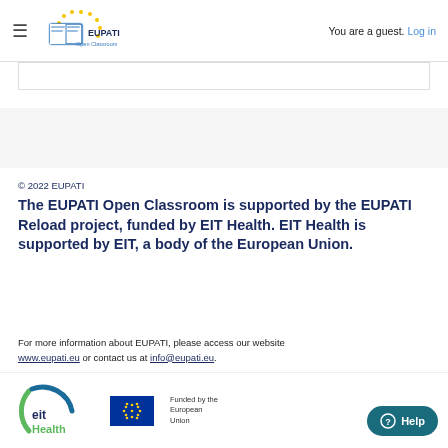EUPATI Open Classroom — You are a guest. Log in
© 2022 EUPATI
The EUPATI Open Classroom is supported by the EUPATI Reload project, funded by EIT Health. EIT Health is supported by EIT, a body of the European Union.
For more information about EUPATI, please access our website www.eupati.eu or contact us at info@eupati.eu.
[Figure (logo): EIT Health logo (circular green/blue arc with 'eit Health' text) and EU flag with 'Funded by the European Union' text]